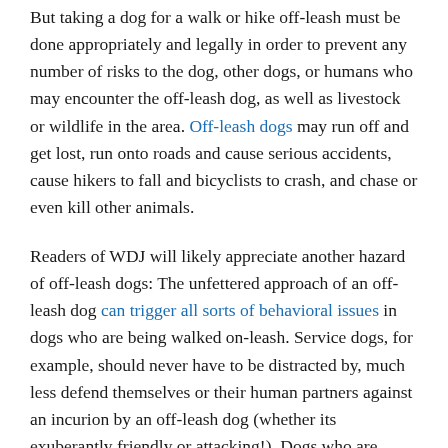But taking a dog for a walk or hike off-leash must be done appropriately and legally in order to prevent any number of risks to the dog, other dogs, or humans who may encounter the off-leash dog, as well as livestock or wildlife in the area. Off-leash dogs may run off and get lost, run onto roads and cause serious accidents, cause hikers to fall and bicyclists to crash, and chase or even kill other animals.
Readers of WDJ will likely appreciate another hazard of off-leash dogs: The unfettered approach of an off-leash dog can trigger all sorts of behavioral issues in dogs who are being walked on-leash. Service dogs, for example, should never have to be distracted by, much less defend themselves or their human partners against an incurion by an off-leash dog (whether its exuberantly friendly or attacking!). Dogs who are anxious about, terrified by, or even offensively aggressive to other dogs and are being treated for these behaviors can suffer long-lasting or even permanent behavioral setbacks